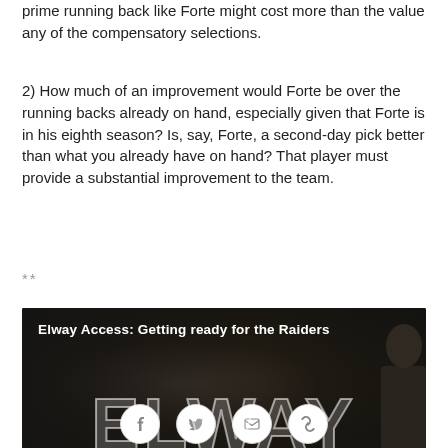prime running back like Forte might cost more than the value any of the compensatory selections.
2) How much of an improvement would Forte be over the running backs already on hand, especially given that Forte is in his eighth season? Is, say, Forte, a second-day pick better than what you already have on hand? That player must provide a substantial improvement to the team.
**
[Figure (photo): Dark promotional image showing 'Elway Access: Getting ready for the Raiders' with large ELWAY text overlay and a figure on the right side]
Social share icons: Facebook, Twitter, Email, Link